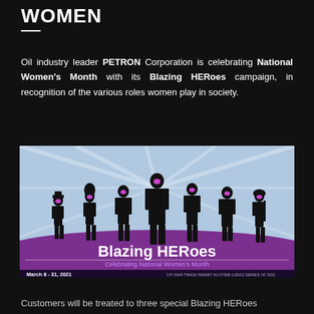WOMEN
Oil industry leader PETRON Corporation is celebrating National Women's Month with its Blazing HERoes campaign, in recognition of the various roles women play in society.
[Figure (illustration): Blazing HERoes campaign image showing silhouettes of women in various roles (police officer, chef, businesswoman, doctor, nurse, soldier) with purple masks, set against a light blue background. Bottom banner reads 'Blazing HERoes – Celebrating National Women's Month – March 8-31, 2021' with DTI Fair Trade Permit info.]
Customers will be treated to three special Blazing HERoes